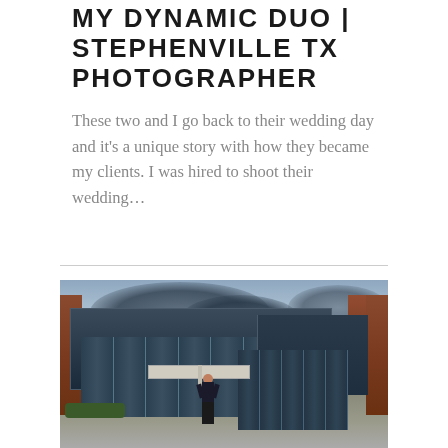My Dynamic Duo | Stephenville TX Photographer
These two and I go back to their wedding day and it's a unique story with how they became my clients. I was hired to shoot their wedding...
[Figure (photo): A woman with dark hair stands in front of a modern building with large glass facade panels and brick columns, under a dramatic cloudy sky. She is posed with hands on hips wearing dark clothing.]